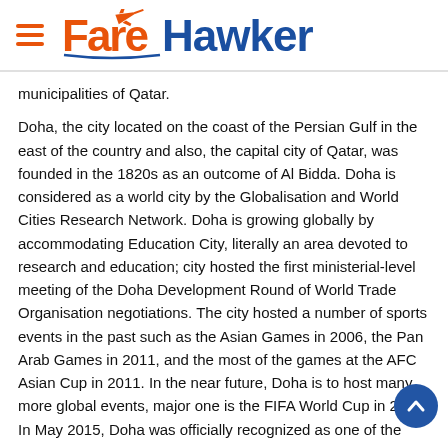FareHawker
municipalities of Qatar.
Doha, the city located on the coast of the Persian Gulf in the east of the country and also, the capital city of Qatar, was founded in the 1820s as an outcome of Al Bidda. Doha is considered as a world city by the Globalisation and World Cities Research Network. Doha is growing globally by accommodating Education City, literally an area devoted to research and education; city hosted the first ministerial-level meeting of the Doha Development Round of World Trade Organisation negotiations. The city hosted a number of sports events in the past such as the Asian Games in 2006, the Pan Arab Games in 2011, and the most of the games at the AFC Asian Cup in 2011. In the near future, Doha is to host many more global events, major one is the FIFA World Cup in 2022. In May 2015, Doha was officially recognized as one of the New7Wonders Cities together with Vigan, La Paz, Durban, Havana, Beirut, and Kuala Lumpur. Doha is a city with hot desert climate and long summers, from May to September. Rainfall is scarce falling on isolated days mostly between October to March. Although winters in Doha are cool, the temperature rarely drops below 7.00 (45.0